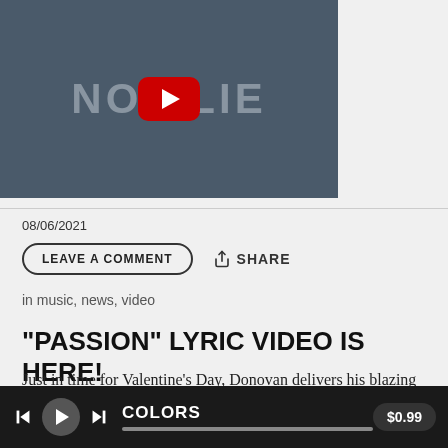[Figure (screenshot): YouTube video thumbnail with dark blue-gray background, YouTube play button (red rounded rectangle with white triangle) centered, partial text 'NO LIE' visible behind the play button]
08/06/2021
LEAVE A COMMENT   SHARE
in music, news, video
"PASSION" LYRIC VIDEO IS HERE!
Just in time for Valentine's Day, Donovan delivers his blazing lyric video for his popular song, "Passion". Decorated with colors to represent the special occasion, the Royal Moon
[Figure (screenshot): Media player bar at bottom: dark background, skip-back, play, skip-forward controls, track title COLORS, progress bar, price $0.99]